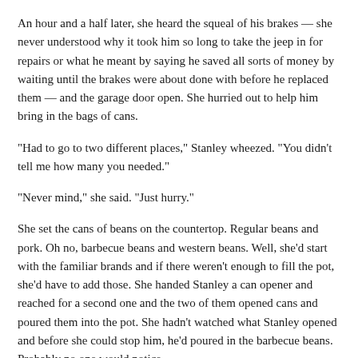An hour and a half later, she heard the squeal of his brakes — she never understood why it took him so long to take the jeep in for repairs or what he meant by saying he saved all sorts of money by waiting until the brakes were about done with before he replaced them — and the garage door open. She hurried out to help him bring in the bags of cans.
"Had to go to two different places," Stanley wheezed. "You didn't tell me how many you needed."
"Never mind," she said. "Just hurry."
She set the cans of beans on the countertop. Regular beans and pork. Oh no, barbecue beans and western beans. Well, she'd start with the familiar brands and if there weren't enough to fill the pot, she'd have to add those. She handed Stanley a can opener and reached for a second one and the two of them opened cans and poured them into the pot. She hadn't watched what Stanley opened and before she could stop him, he'd poured in the barbecue beans. Probably no one would notice.
They were down to needing only a few more cans, Stanley